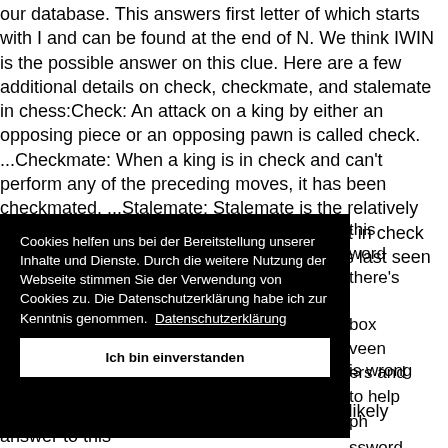our database. This answers first letter of which starts with I and can be found at the end of N. We think IWIN is the possible answer on this clue. Here are a few additional details on check, checkmate, and stalemate in chess:Check: An attack on a king by either an opposing piece or an opposing pawn is called check. ...Checkmate: When a king is in check and can't perform any of the preceding moves, it has been checkmated. ...Stalemate: Stalemate is the relatively rare situation when a player whose king isn't in check has no legal move to make. ... This clue was last seen on October 18 2019 on New York Times's
this word there's box veen ers and is wrong to help ph ssword ssword the
[Figure (screenshot): Cookie consent modal overlay with black background. Text in German: 'Cookies helfen uns bei der Bereitstellung unserer Inhalte und Dienste. Durch die weitere Nutzung der Webseite stimmen Sie der Verwendung von Cookies zu. Die Datenschutzerklärung habe ich zur Kenntnis genommen.' followed by a 'Datenschutzerklärung' link. Below is a white button reading 'Ich bin einverstanden'.]
crossword solving community. We think the likely answer to this